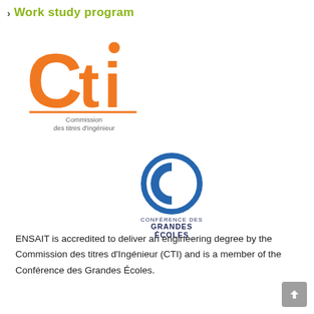Work study program
[Figure (logo): CTI logo — orange 'Cti' lettering above text 'Commission des titres d'ingénieur']
[Figure (logo): Conférence des Grandes Écoles logo — blue circular G/E icon with text 'CONFÉRENCE DES GRANDES ÉCOLES' in dark navy]
ENSAIT is accredited to deliver an engineering degree by the Commission des titres d'Ingénieur (CTI) and is a member of the Conférence des Grandes Écoles.